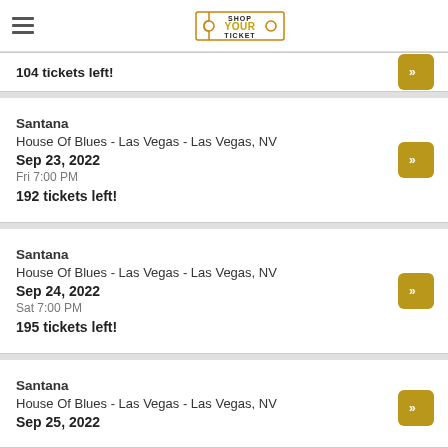Shop Your Ticket
104 tickets left!
Santana
House Of Blues - Las Vegas - Las Vegas, NV
Sep 23, 2022
Fri 7:00 PM
192 tickets left!
Santana
House Of Blues - Las Vegas - Las Vegas, NV
Sep 24, 2022
Sat 7:00 PM
195 tickets left!
Santana
House Of Blues - Las Vegas - Las Vegas, NV
Sep 25, 2022